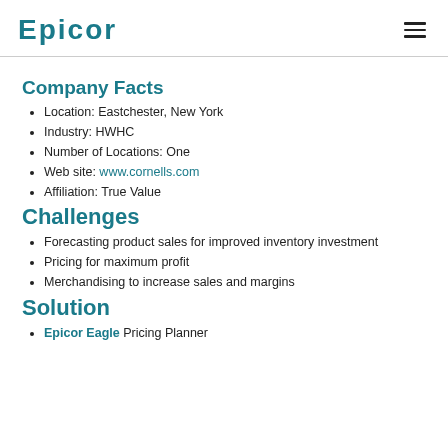EPICOR
Company Facts
Location: Eastchester, New York
Industry: HWHC
Number of Locations: One
Web site: www.cornells.com
Affiliation: True Value
Challenges
Forecasting product sales for improved inventory investment
Pricing for maximum profit
Merchandising to increase sales and margins
Solution
Epicor Eagle Pricing Planner